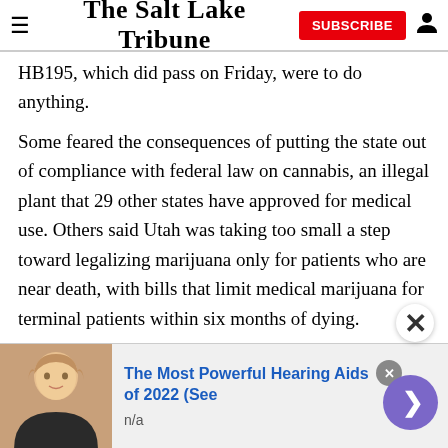The Salt Lake Tribune | SUBSCRIBE
HB195, which did pass on Friday, were to do anything.
Some feared the consequences of putting the state out of compliance with federal law on cannabis, an illegal plant that 29 other states have approved for medical use. Others said Utah was taking too small a step toward legalizing marijuana only for patients who are near death, with bills that limit medical marijuana for terminal patients within six months of dying.
[Figure (photo): Advertisement banner featuring a woman with blonde hair, promoting 'The Most Powerful Hearing Aids of 2022 (See', with subtitle 'n/a' and a purple navigation arrow button.]